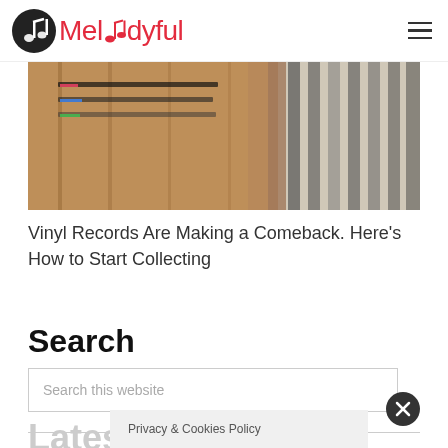Melodyful
[Figure (photo): Partial photo of vinyl records in wooden crates with a person in striped clothing in background]
Vinyl Records Are Making a Comeback. Here's How to Start Collecting
Search
Search this website
Lates
Privacy & Cookies Policy